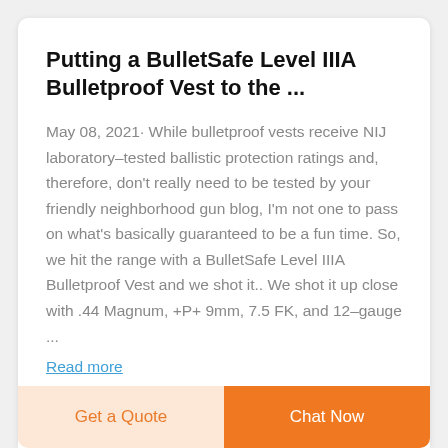Putting a BulletSafe Level IIIA Bulletproof Vest to the ...
May 08, 2021· While bulletproof vests receive NIJ laboratory–tested ballistic protection ratings and, therefore, don't really need to be tested by your friendly neighborhood gun blog, I'm not one to pass on what's basically guaranteed to be a fun time. So, we hit the range with a BulletSafe Level IIIA Bulletproof Vest and we shot it.. We shot it up close with .44 Magnum, +P+ 9mm, 7.5 FK, and 12–gauge ...
Read more